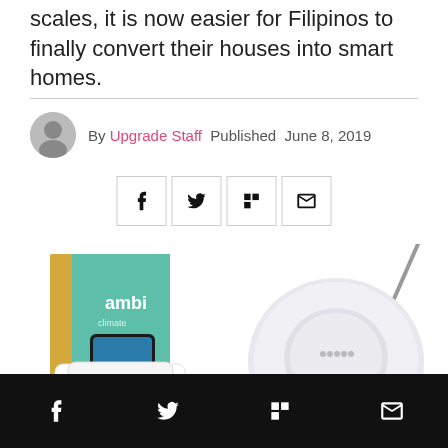scales, it is now easier for Filipinos to finally convert their houses into smart homes.
By Upgrade Staff Published June 8, 2019
[Figure (other): Social share icons: Facebook, Twitter, Flipboard, Email]
[Figure (photo): Product images: Ambi smart home device with box, Belkin wireless charger, digital scale showing 136.0, and a robotic vacuum cleaner]
Facebook Twitter Flipboard Email share bar (dark background)